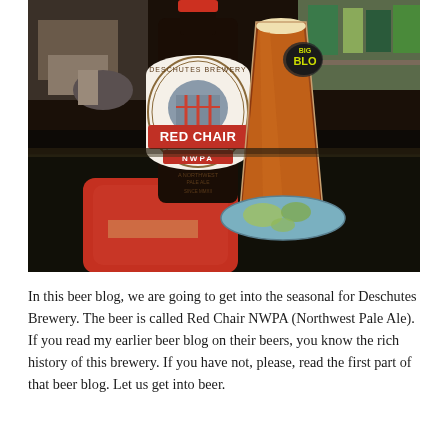[Figure (photo): Photo of a Deschutes Brewery Red Chair NWPA beer bottle next to a pint glass of amber beer on a dark table. The bottle has a white label with red banner reading 'RED CHAIR NWPA'. A red coaster is under the bottle and a world-map coaster is under the glass. A sticker on the glass reads 'BLO'.]
In this beer blog, we are going to get into the seasonal for Deschutes Brewery.  The beer is called Red Chair NWPA (Northwest Pale Ale).  If you read my earlier beer blog on their beers, you know the rich history of this brewery.  If you have not, please, read the first part of that beer blog.  Let us get into beer.